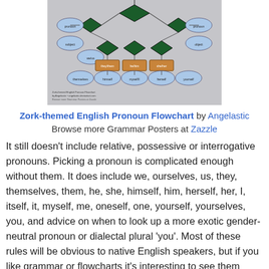[Figure (flowchart): Zork-themed English Pronoun Flowchart — a complex decision flowchart with green diamond nodes, blue oval nodes, and brown rectangle nodes connected by arrows, on a gray background.]
Zork-themed English Pronoun Flowchart by Angelastic
Browse more Grammar Posters at Zazzle
It still doesn't include relative, possessive or interrogative pronouns. Picking a pronoun is complicated enough without them. It does include we, ourselves, us, they, themselves, them, he, she, himself, him, herself, her, I, itself, it, myself, me, oneself, one, yourself, yourselves, you, and advice on when to look up a more exotic gender-neutral pronoun or dialectal plural 'you'. Most of these rules will be obvious to native English speakers, but if you like grammar or flowcharts it's interesting to see them written explicitly, and the example sentences may be